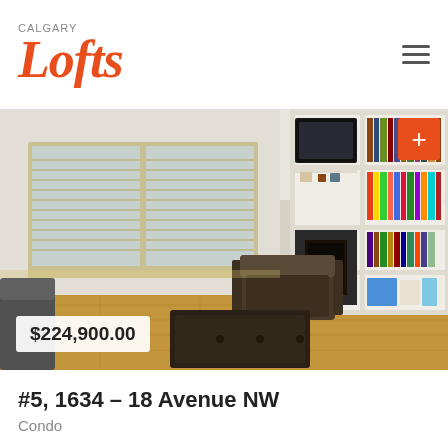Calgary Lofts
[Figure (photo): Interior photo of a living room with large windows with blinds, a leather armchair, a coffee table ottoman, a built-in white bookshelf unit with a large flat-screen TV and fireplace, and hardwood floors. Price badge shows $224,900.00.]
#5, 1634 – 18 Avenue NW
Condo